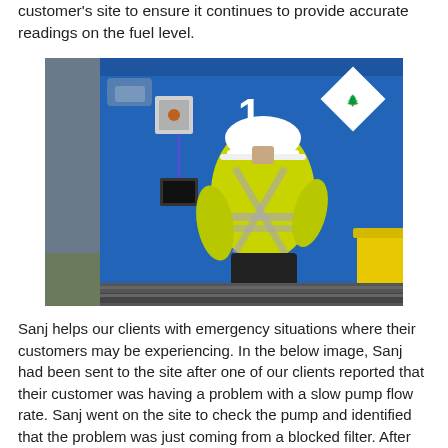customer's site to ensure it continues to provide accurate readings on the fuel level.
[Figure (photo): A worker in a high-visibility yellow jacket and white hard hat stands with their back to the camera, working on equipment mounted on a large blue fuel tank or container. A hazard diamond sign is visible on the tank. A yellow bin is visible at the right edge. The setting appears to be an industrial or commercial site.]
Sanj helps our clients with emergency situations where their customers may be experiencing. In the below image, Sanj had been sent to the site after one of our clients reported that their customer was having a problem with a slow pump flow rate. Sanj went on the site to check the pump and identified that the problem was just coming from a blocked filter. After replacing the filter, the pumping system started working perfectly again. These are just a few examples where Sanj provided support on our client's behalf and help them offer great after-sale support.